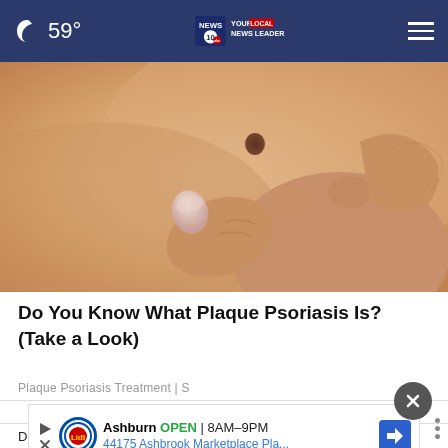59° — NEWS 10 YOUR LOCAL NEWS LEADER
[Figure (photo): Close-up photo of a hand touching/examining a skin mole or lesion on a person's torso, showing skin with a dark spot being pinched or examined by fingers.]
Do You Know What Plaque Psoriasis Is? (Take a Look)
Plaque Psoriasis Treatment | S
[Figure (screenshot): Advertisement banner for Lidl store in Ashburn showing: Ashburn OPEN 8AM-9PM, 44175 Ashbrook Marketplace Pla..., with play button, Lidl logo, and navigation arrow icon.]
Do you think Ginni Thomas, the wife of Supreme Court Justice